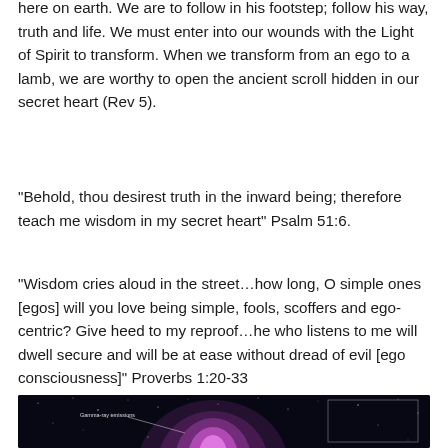here on earth. We are to follow in his footstep; follow his way, truth and life. We must enter into our wounds with the Light of Spirit to transform. When we transform from an ego to a lamb, we are worthy to open the ancient scroll hidden in our secret heart (Rev 5).
“Behold, thou desirest truth in the inward being; therefore teach me wisdom in my secret heart” Psalm 51:6.
“Wisdom cries aloud in the street…how long, O simple ones [egos] will you love being simple, fools, scoffers and ego-centric? Give heed to my reproof…he who listens to me will dwell secure and will be at ease without dread of evil [ego consciousness]” Proverbs 1:20-33
[Figure (photo): Space/astronomy image with dark background showing stars and a bright magenta/purple nebula or gamma-ray emission cloud. A label reads 'Gamma-ray emissions' with an arrow pointing to the glowing region. A rectangular outline is visible on the right side of the image.]